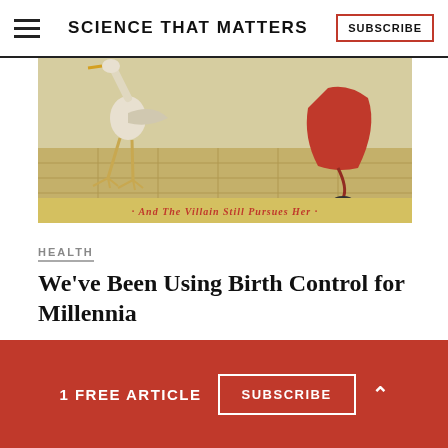SCIENCE THAT MATTERS  SUBSCRIBE
[Figure (illustration): Vintage illustration showing a stork-like bird and a figure in red cape with caption 'And The Villain Still Pursues Her']
And The Villain Still Pursues Her
HEALTH
We've Been Using Birth Control for Millennia
[Figure (photo): Partial view of a second image, cropped at bottom]
1 FREE ARTICLE  SUBSCRIBE